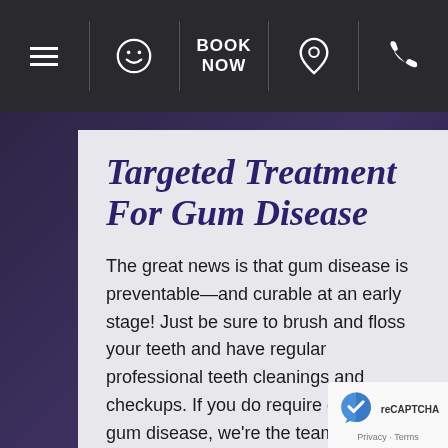☰  😊  BOOK NOW  📍  📞
Targeted Treatment For Gum Disease
The great news is that gum disease is preventable—and curable at an early stage! Just be sure to brush and floss your teeth and have regular professional teeth cleanings and checkups. If you do require care for gum disease, we're the team to trust. We provide multiple treatments for gum disease in Rockville, MD, depending on the severity of your case and the stage of gum disease you're in. We'll